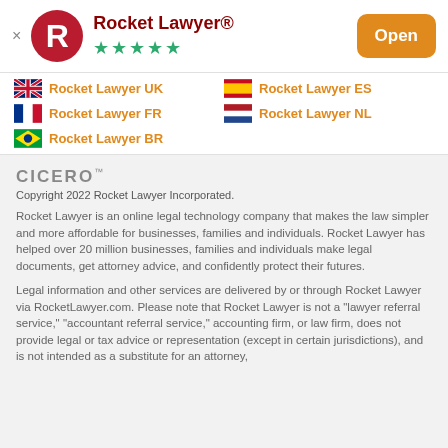[Figure (logo): Rocket Lawyer app header with circular red logo showing white R, app title 'Rocket Lawyer®', five green stars, and orange 'Open' button]
Rocket Lawyer UK
Rocket Lawyer ES
Rocket Lawyer FR
Rocket Lawyer NL
Rocket Lawyer BR
CICERO™
Copyright 2022 Rocket Lawyer Incorporated.
Rocket Lawyer is an online legal technology company that makes the law simpler and more affordable for businesses, families and individuals. Rocket Lawyer has helped over 20 million businesses, families and individuals make legal documents, get attorney advice, and confidently protect their futures.
Legal information and other services are delivered by or through Rocket Lawyer via RocketLawyer.com. Please note that Rocket Lawyer is not a "lawyer referral service," "accountant referral service," accounting firm, or law firm, does not provide legal or tax advice or representation (except in certain jurisdictions), and is not intended as a substitute for an attorney,